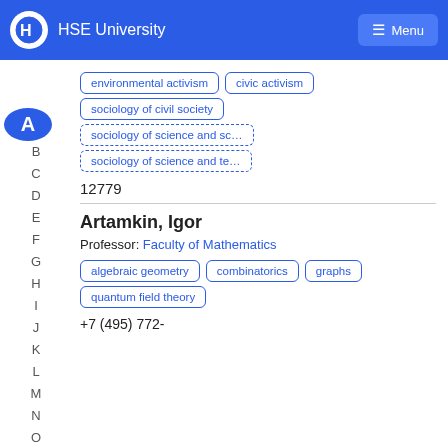HSE University  Menu
A
B
C
D
E
F
G
H
I
J
K
L
M
N
O
environmental activism
civic activism
sociology of civil society
sociology of science and sc...
sociology of science and te...
12779
Artamkin, Igor
Professor: Faculty of Mathematics
algebraic geometry
combinatorics
graphs
quantum field theory
+7 (495) 772-